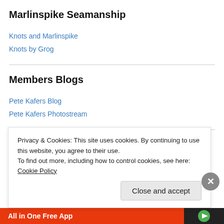Marlinspike Seamanship
Knots and Marlinspike
Knots by Grog
Members Blogs
Pete Kafers Blog
Pete Kafers Photostream
One Design Class Associations
Privacy & Cookies: This site uses cookies. By continuing to use this website, you agree to their use.
To find out more, including how to control cookies, see here: Cookie Policy
Close and accept
All in One Free App